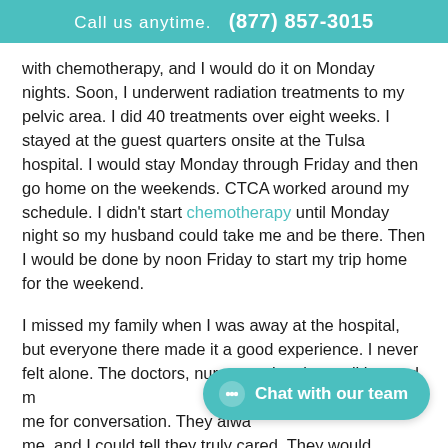Call us anytime.   (877) 857-3015
with chemotherapy, and I would do it on Monday nights. Soon, I underwent radiation treatments to my pelvic area. I did 40 treatments over eight weeks. I stayed at the guest quarters onsite at the Tulsa hospital. I would stay Monday through Friday and then go home on the weekends. CTCA worked around my schedule. I didn't start chemotherapy until Monday night so my husband could take me and be there. Then I would be done by noon Friday to start my trip home for the weekend.
I missed my family when I was away at the hospital, but everyone there made it a good experience. I never felt alone. The doctors, nurses and patients all hugged me and stopped me for conversation. They always encouraged me, and I could tell they truly cared. They would
[Figure (other): Chat with our team button — teal rounded pill button with chat bubble icon and text 'Chat with our team']